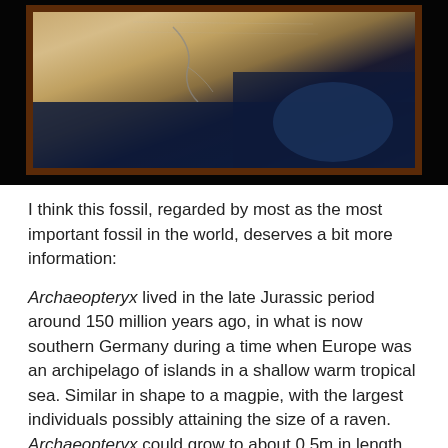[Figure (photo): A framed fossil specimen displayed in a dark museum setting. The fossil slab has a warm tan/beige color with visible cracks, set in a dark wooden frame. The background behind the frame shows dark blue museum lighting.]
I think this fossil, regarded by most as the most important fossil in the world, deserves a bit more information:
Archaeopteryx lived in the late Jurassic period around 150 million years ago, in what is now southern Germany during a time when Europe was an archipelago of islands in a shallow warm tropical sea. Similar in shape to a magpie, with the largest individuals possibly attaining the size of a raven. Archaeopteryx could grow to about 0.5m in length. Despite its small size, broad wings, and inferred ability to fly or glide, Archaeopteryx has more in common with other small dinosaurs than it does with modern birds.